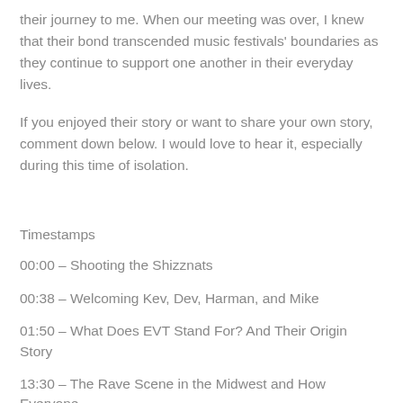their journey to me. When our meeting was over, I knew that their bond transcended music festivals' boundaries as they continue to support one another in their everyday lives.
If you enjoyed their story or want to share your own story, comment down below. I would love to hear it, especially during this time of isolation.
Timestamps
00:00 – Shooting the Shizznats
00:38 – Welcoming Kev, Dev, Harman, and Mike
01:50 – What Does EVT Stand For? And Their Origin Story
13:30 – The Rave Scene in the Midwest and How Everyone